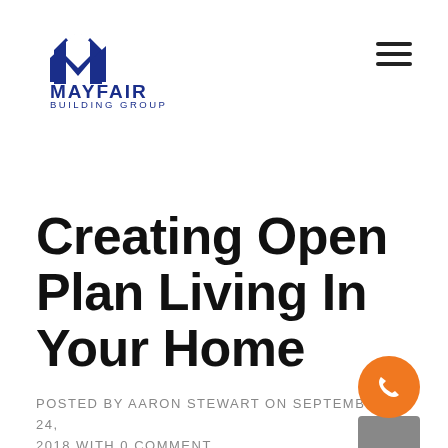[Figure (logo): Mayfair Building Group logo with blue M-shaped house icon above the text MAYFAIR BUILDING GROUP]
Creating Open Plan Living In Your Home
POSTED BY AARON STEWART ON SEPTEMBER 24, 2018 WITH 0 COMMENT